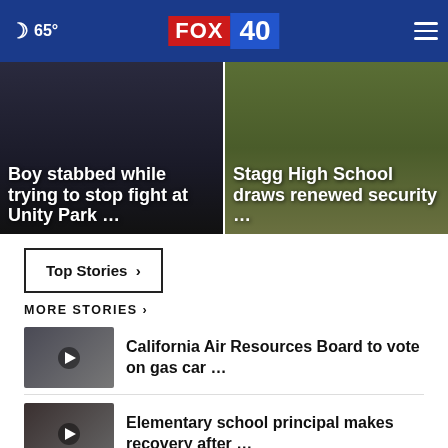65° FOX 40
[Figure (photo): Boy stabbed while trying to stop fight at Unity Park - news card with dark background]
[Figure (photo): Stagg High School draws renewed security - news card with outdoor/grass background]
Top Stories ›
MORE STORIES ›
[Figure (photo): Video thumbnail for California Air Resources Board gas car story]
California Air Resources Board to vote on gas car …
[Figure (photo): Video thumbnail for Elementary school principal recovery story]
Elementary school principal makes recovery after …
[Figure (photo): Video thumbnail for partially visible third story]